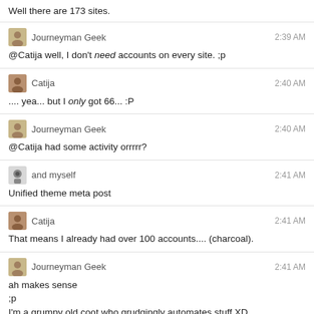Well there are 173 sites.
Journeyman Geek  2:39 AM
@Catija well, I don't need accounts on every site. ;p
Catija  2:40 AM
.... yea... but I only got 66... :P
Journeyman Geek  2:40 AM
@Catija had some activity orrrrr?
and myself  2:41 AM
Unified theme meta post
Catija  2:41 AM
That means I already had over 100 accounts.... (charcoal).
Journeyman Geek  2:41 AM
ah makes sense
;p
I'm a grumpy old coot who grudgingly automates stuff XD
Catija  2:41 AM
@andmyself Nope. :)
Journeyman Geek  2:42 AM